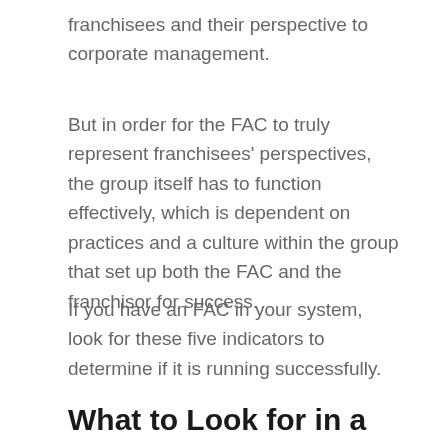franchisees and their perspective to corporate management.
But in order for the FAC to truly represent franchisees' perspectives, the group itself has to function effectively, which is dependent on practices and a culture within the group that set up both the FAC and the franchisor for success.
If you have an FAC in your system, look for these five indicators to determine if it is running successfully.
What to Look for in a